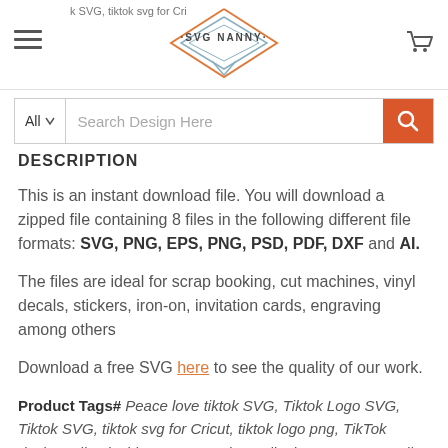SVG Nanny — navigation bar with hamburger menu, logo, and cart icon
All ∨  Search Design Here  [search button]
DESCRIPTION
This is an instant download file. You will download a zipped file containing 8 files in the following different file formats: SVG, PNG, EPS, PNG, PSD, PDF, DXF and AI.
The files are ideal for scrap booking, cut machines, vinyl decals, stickers, iron-on, invitation cards, engraving among others
Download a free SVG here to see the quality of our work.
Product Tags# Peace love tiktok SVG, Tiktok Logo SVG, Tiktok SVG, tiktok svg for Cricut, tiktok logo png, TikTok design, Tik tok shirt SVG, Eat Sleep Tiktok Repeat SVG, Tikto